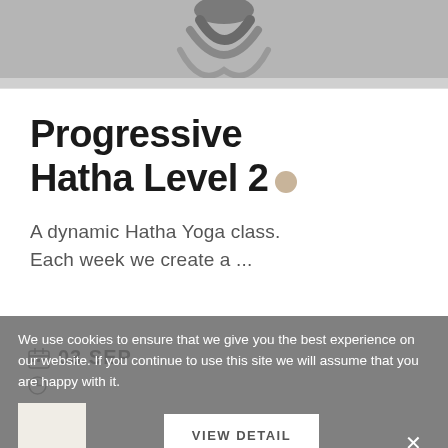[Figure (photo): Top portion of a yoga class hero image showing a person in a yoga pose, cropped at the bottom.]
Progressive Hatha Level 2
A dynamic Hatha Yoga class. Each week we create a ...
03 SEP
We use cookies to ensure that we give you the best experience on our website. If you continue to use this site we will assume that you are happy with it.
VIEW DETAIL